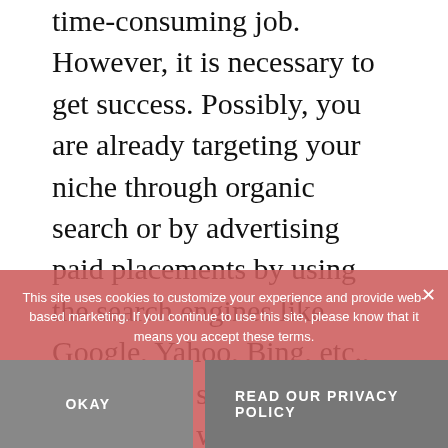time-consuming job. However, it is necessary to get success. Possibly, you are already targeting your niche through organic search or by advertising paid placements by using the search engines like Google, Yahoo, Bing, etc., or on many social media networking websites such as Facebook, LinkedIn, Twitter, etc. However, to raise your ROI, this can't be done blindly. For this, you need to research on your audience to comprehensively understand their demographics as well as their buying behavioural patterns.
Understanding your customers will definitely assist you in make crucial decisions about
This site uses cookies to customize your experience and provide web-based marketing. If you continue to use this site, please know that it means you accept these terms.
OKAY
READ OUR PRIVACY POLICY